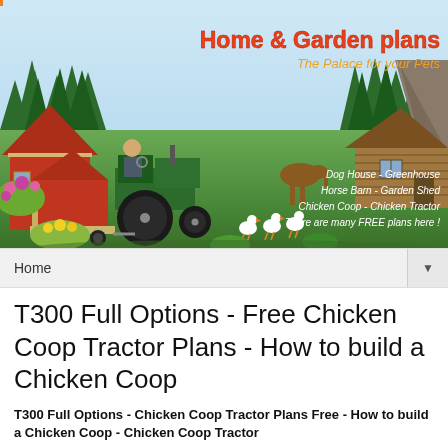[Figure (illustration): Home & Garden Plans website banner showing a farm scene with a red barn, green tractor pulling a chicken coop tractor, chickens, trees, log cabin, flowers, and text overlay listing Dog House, Greenhouse, Horse Barn, Garden Shed, Chicken Coop, Chicken Tractor, There are many FREE plans here]
Home ▼
T300 Full Options - Free Chicken Coop Tractor Plans - How to build a Chicken Coop
T300 Full Options - Chicken Coop Tractor Plans Free - How to build a Chicken Coop - Chicken Coop Tractor